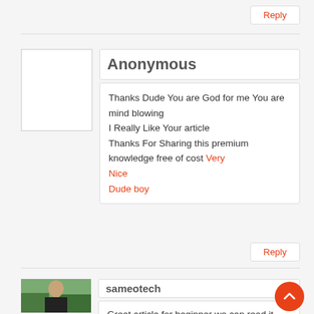Reply
[Figure (illustration): Blank white avatar placeholder box]
Anonymous
Thanks Dude You are God for me You are mind blowing
I Really Like Your article
Thanks For Sharing this premium knowledge free of cost Very
Nice
Dude boy
Reply
[Figure (photo): Profile photo of sameotech - man in dark jacket outdoors]
sameotech
Great article for beginner we can read it and make